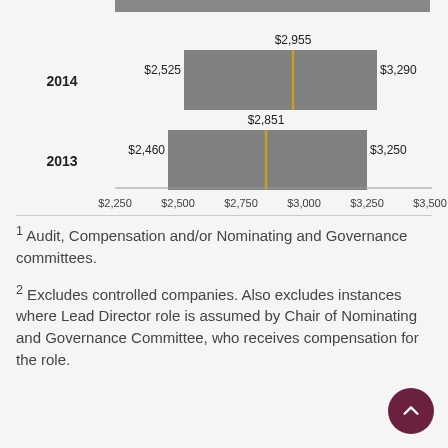[Figure (bar-chart): Director Compensation]
1 Audit, Compensation and/or Nominating and Governance committees.
2 Excludes controlled companies. Also excludes instances where Lead Director role is assumed by Chair of Nominating and Governance Committee, who receives compensation for the role.